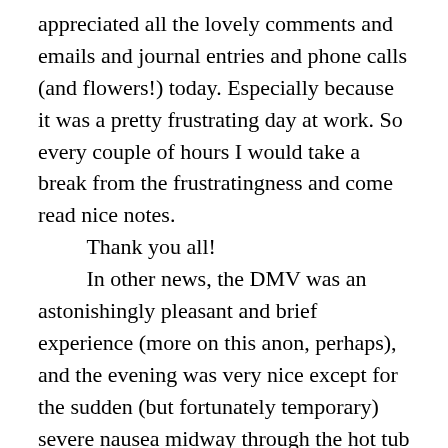appreciated all the lovely comments and emails and journal entries and phone calls (and flowers!) today. Especially because it was a pretty frustrating day at work. So every couple of hours I would take a break from the frustratingness and come read nice notes.
	Thank you all!
	In other news, the DMV was an astonishingly pleasant and brief experience (more on this anon, perhaps), and the evening was very nice except for the sudden (but fortunately temporary) severe nausea midway through the hot tub part. (Well, okay, the other part of the evening that wasn't so great was the past two hours of trying unsuccessfully to get work stuff to work so it can be sent to testers in the morning, but as it goes.)